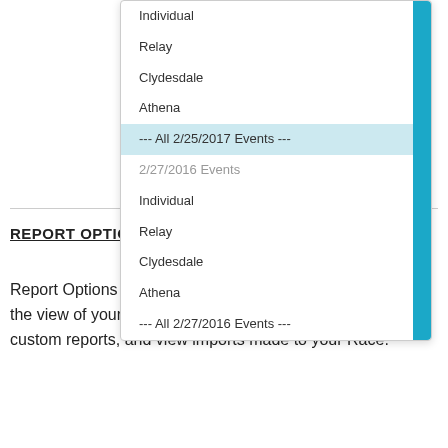[Figure (screenshot): Dropdown menu showing event options: Individual, Relay, Clydesdale, Athena, --- All 2/25/2017 Events ---, then 2/27/2016 Events group header, Individual, Relay, Clydesdale, Athena, --- All 2/27/2016 Events ---]
REPORT OPTIONS
Report Options among other things allows you to customize the view of your report to include additional columns, save custom reports, and view imports made to your Race.
[Figure (screenshot): REPORT OPTIONS button with dropdown arrow]